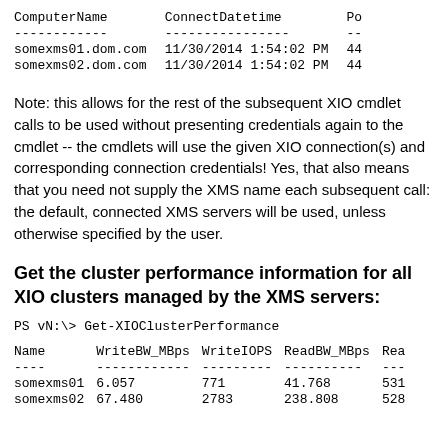| ComputerName | ConnectDatetime | Po |
| --- | --- | --- |
| ------------ | ---------------- | -- |
| somexms01.dom.com | 11/30/2014 1:54:02 PM | 44 |
| somexms02.dom.com | 11/30/2014 1:54:02 PM | 44 |
Note: this allows for the rest of the subsequent XIO cmdlet calls to be used without presenting credentials again to the cmdlet -- the cmdlets will use the given XIO connection(s) and corresponding connection credentials! Yes, that also means that you need not supply the XMS name each subsequent call: the default, connected XMS servers will be used, unless otherwise specified by the user.
Get the cluster performance information for all XIO clusters managed by the XMS servers:
PS vN:\> Get-XIOClusterPerformance
| Name | WriteBW_MBps | WriteIOPS | ReadBW_MBps | Rea |
| --- | --- | --- | --- | --- |
| ---- | ------------ | --------- | ---------- | --- |
| somexms01 | 6.057 | 771 | 41.768 | 531 |
| somexms02 | 67.480 | 2783 | 238.808 | 528 |